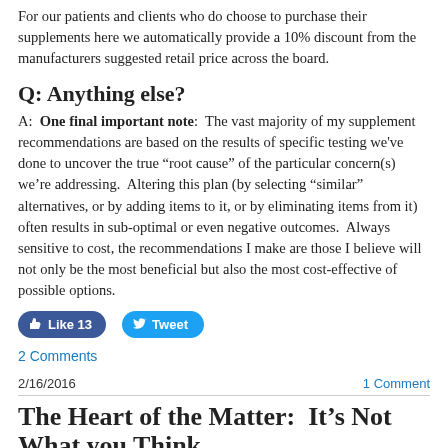For our patients and clients who do choose to purchase their supplements here we automatically provide a 10% discount from the manufacturers suggested retail price across the board.
Q:  Anything else?
A:  One final important note:  The vast majority of my supplement recommendations are based on the results of specific testing we've done to uncover the true "root cause" of the particular concern(s) we're addressing.  Altering this plan (by selecting "similar" alternatives, or by adding items to it, or by eliminating items from it) often results in sub-optimal or even negative outcomes.  Always sensitive to cost, the recommendations I make are those I believe will not only be the most beneficial but also the most cost-effective of possible options.
[Figure (other): Social media buttons: Like 13 (Facebook) and Tweet (Twitter)]
2 Comments
2/16/2016
1 Comment
The Heart of the Matter:  It's Not What you Think